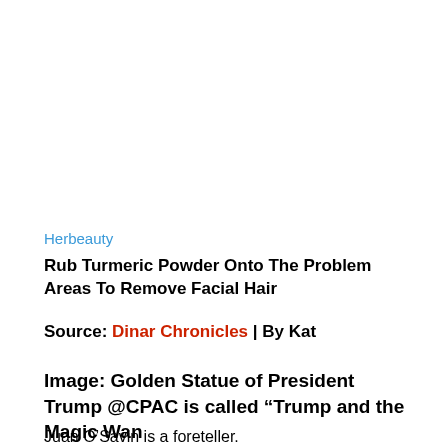Herbeauty
Rub Turmeric Powder Onto The Problem Areas To Remove Facial Hair
Source: Dinar Chronicles | By Kat
Image: Golden Statue of President Trump @CPAC is called “Trump and the Magic Wan
Juan O’Savin is a foreteller.